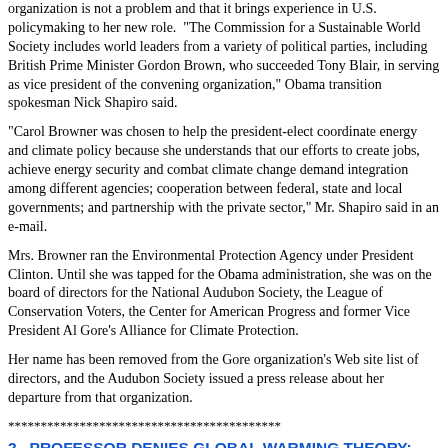organization is not a problem and that it brings experience in U.S. policymaking to her new role.  "The Commission for a Sustainable World Society includes world leaders from a variety of political parties, including British Prime Minister Gordon Brown, who succeeded Tony Blair, in serving as vice president of the convening organization," Obama transition spokesman Nick Shapiro said.
"Carol Browner was chosen to help the president-elect coordinate energy and climate policy because she understands that our efforts to create jobs, achieve energy security and combat climate change demand integration among different agencies; cooperation between federal, state and local governments; and partnership with the private sector," Mr. Shapiro said in an e-mail.
Mrs. Browner ran the Environmental Protection Agency under President Clinton. Until she was tapped for the Obama administration, she was on the board of directors for the National Audubon Society, the League of Conservation Voters, the Center for American Progress and former Vice President Al Gore's Alliance for Climate Protection.
Her name has been removed from the Gore organization's Web site list of directors, and the Audubon Society issued a press release about her departure from that organization.
******************************************
2.  PROFESSOR DENIES GLOBAL WARMING THEORY: PRINCETON PROFESSOR FIRED BY GORE NOW RIDICULES WARMING FEARS: 'WHAT USED TO BE SCIENCE HAS TURNED INTO A CULT'
http://www.dailyprincetonian.com/2009/01/12/22506
By Raymond Brusca, Staff Writer,, January 12th, 2009